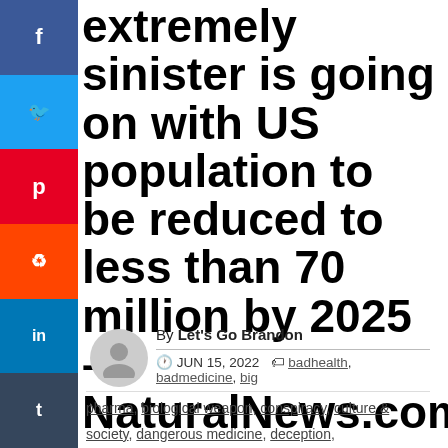extremely sinister is going on with US population to be reduced to less than 70 million by 2025 – NaturalNews.com
By Let's Go Brandon
JUN 15, 2022
badhealth, badmedicine, big pharma, biological weapon, conspiracy, culture & society, dangerous medicine, deception, depopulation, eugenics, genocide, globalists, harmful medicine, health, medicine, pharmaceutical fraud, population collapse, spike protein, vaccine